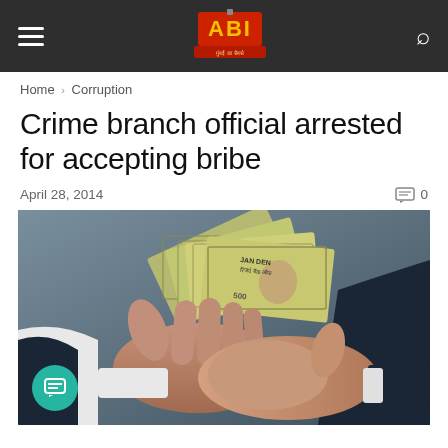ABI news website navigation bar with hamburger menu, ABI logo, and search icon
Home › Corruption
Crime branch official arrested for accepting bribe
April 28, 2014   💬 0
[Figure (photo): Two hands in a handshake exchanging Indian currency banknotes (rupee notes), one person wearing a white shirt and the other wearing a dark suit jacket — symbolizing bribery or corruption.]